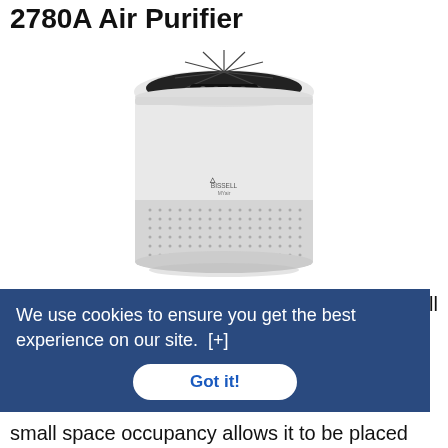2780A Air Purifier
[Figure (photo): Bissell MYair air purifier product photo — white cylindrical unit with dark mesh top panel and perforated lower body]
Bissell MYair personal air purifier is great at keeping kitchen odor contained when you have guests coming over your small abode. This small space occupancy allows it to be placed
We use cookies to ensure you get the best experience on our site.  [+]
Got it!